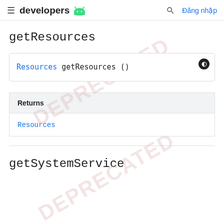≡ developers 🤖  🔍  Đăng nhập
getResources
Resources getResources ()
| Returns |
| --- |
| Resources |
getSystemService